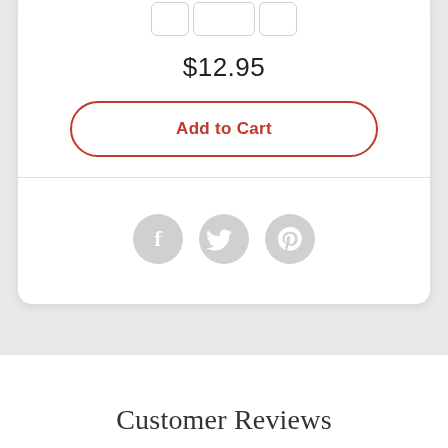$12.95
Add to Cart
[Figure (illustration): Three social share icon circles: Facebook (f), Twitter bird, Pinterest (p) in light grey]
Customer Reviews